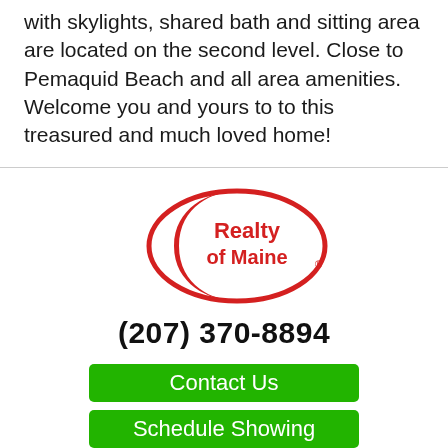with skylights, shared bath and sitting area are located on the second level. Close to Pemaquid Beach and all area amenities. Welcome you and yours to to this treasured and much loved home!
[Figure (logo): Realty of Maine logo — red oval with red crescent shape on left and text 'Realty of Maine' in red inside the oval]
(207) 370-8894
Contact Us
Schedule Showing